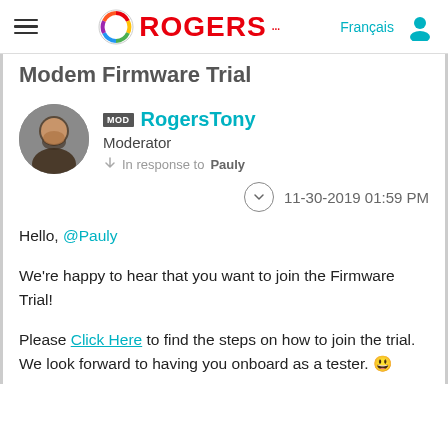ROGERS... | Français | [user icon]
Modem Firmware Trial
RogersTony
Moderator
In response to Pauly
11-30-2019 01:59 PM
Hello, @Pauly

We're happy to hear that you want to join the Firmware Trial!

Please Click Here to find the steps on how to join the trial. We look forward to having you onboard as a tester. 😃